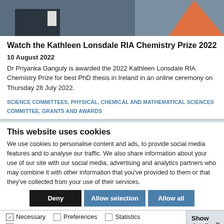[Figure (photo): Photo of a person in formal attire with a geometric orange/teal graphic element on the right side, gray background]
Watch the Kathleen Lonsdale RIA Chemistry Prize 2022
10 August 2022
Dr Priyanka Ganguly is awarded the 2022 Kathleen Lonsdale RIA Chemistry Prize for best PhD thesis in Ireland in an online ceremony on Thursday 28 July 2022.
SCIENCE COMMITTEES, PHYSICAL, CHEMICAL AND MATHEMATICAL SCIENCES COMMITTEE, GRANTS AND AWARDS
This website uses cookies
We use cookies to personalise content and ads, to provide social media features and to analyse our traffic. We also share information about your use of our site with our social media, advertising and analytics partners who may combine it with other information that you've provided to them or that they've collected from your use of their services.
Deny | Allow selection | Allow all
Necessary (checked), Preferences, Statistics, Marketing — Show details